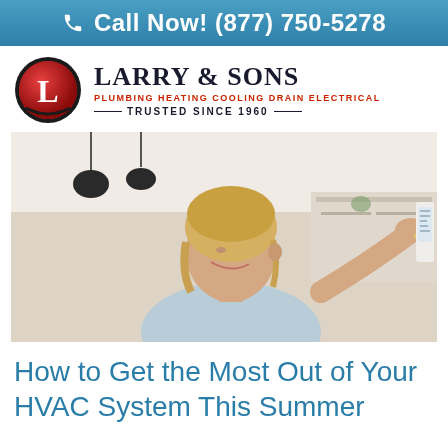Call Now! (877) 750-5278
[Figure (logo): Larry & Sons logo with red circle containing L, company name, tagline PLUMBING HEATING COOLING DRAIN ELECTRICAL, TRUSTED SINCE 1960]
[Figure (photo): Woman with short blonde hair smiling and adjusting a white wall thermostat in a modern home interior with pendant lights]
How to Get the Most Out of Your HVAC System This Summer